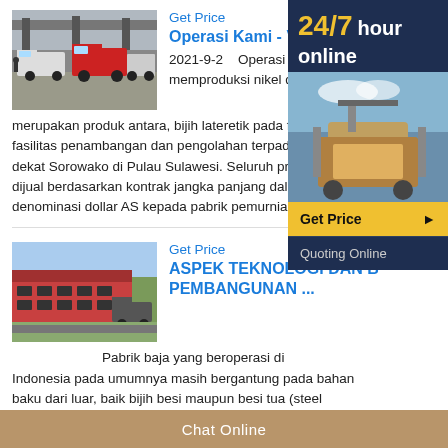Get Price
Operasi Kami - Vale
[Figure (photo): Trucks and heavy vehicles at an industrial site with overhead bridge structure]
2021-9-2  Operasi Kami. PT memproduksi nikel dalam ma merupakan produk antara, bijih lateretik pada fa fasilitas penambangan dan pengolahan terpadu dekat Sorowako di Pulau Sulawesi. Seluruh pro dijual berdasarkan kontrak jangka panjang dala denominasi dollar AS kepada pabrik pemurnian
[Figure (infographic): 24/7 hour online banner with mining machinery image, Get Price button and Quoting Online button]
Get Price
ASPEK TEKNOLOGI DAN B PEMBANGUNAN ...
[Figure (photo): Large industrial steel factory building with trucks outside]
Pabrik baja yang beroperasi di Indonesia pada umumnya masih bergantung pada bahan baku dari luar, baik bijih besi maupun besi tua (steel scrap). Pengolahan bijih besi dalam negeri menjadi produk
Chat Online